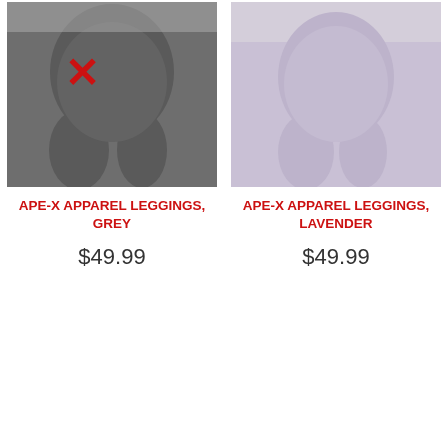[Figure (photo): Photo of grey leggings worn from behind, with a red X mark over the left buttock area]
[Figure (photo): Photo of lavender/light purple leggings worn from behind]
APE-X APPAREL LEGGINGS, GREY
APE-X APPAREL LEGGINGS, LAVENDER
$49.99
$49.99